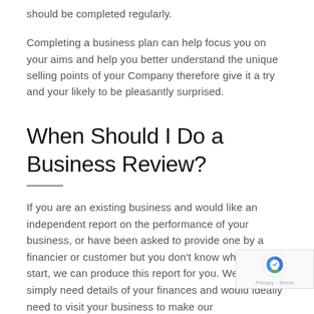should be completed regularly.
Completing a business plan can help focus you on your aims and help you better understand the unique selling points of your Company therefore give it a try and your likely to be pleasantly surprised.
When Should I Do a Business Review?
If you are an existing business and would like an independent report on the performance of your business, or have been asked to provide one by a financier or customer but you don't know where to start, we can produce this report for you. We will simply need details of your finances and would ideally need to visit your business to make our